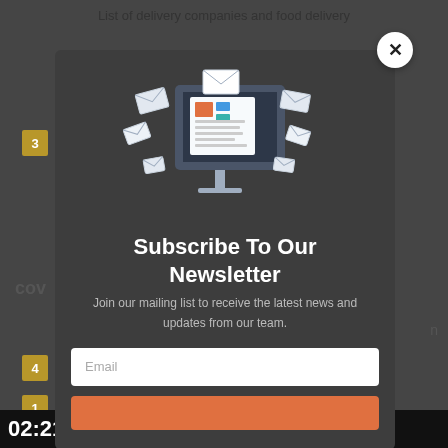List of delivery companies and food delivery
[Figure (screenshot): Newsletter subscription popup modal overlaying a webpage. The modal has a dark gray background with an illustration of a computer monitor with envelopes/newsletters, a title 'Subscribe To Our Newsletter', descriptive text, an email input field, and a subscribe button. A close (X) button is in the top-right corner of the modal.]
Subscribe To Our Newsletter
Join our mailing list to receive the latest news and updates from our team.
Email
02:21  THE RAMADAN 2022 WOR